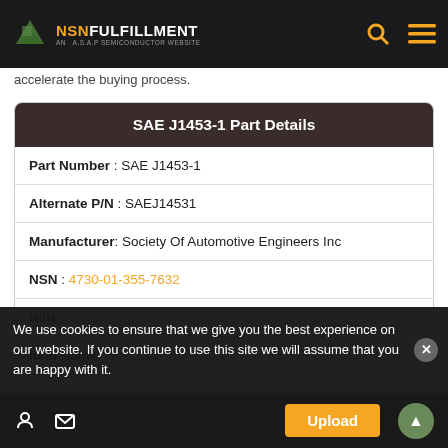NSNFULFILLMENT AN A.S.A.P SEMICONDUCTOR WEBSITE
accelerate the buying process.
| SAE J1453-1 Part Details |
| --- |
| Part Number : SAE J1453-1 |
| Alternate P/N : SAEJ14531 |
| Manufacturer: Society Of Automotive Engineers Inc |
| NSN : 4730-01-355-7632 |
| NIIN : 013557632 |
| Item Name: Tee Tube |
We use cookies to ensure that we give you the best experience on our website. If you continue to use this site we will assume that you are happy with it.
Upload